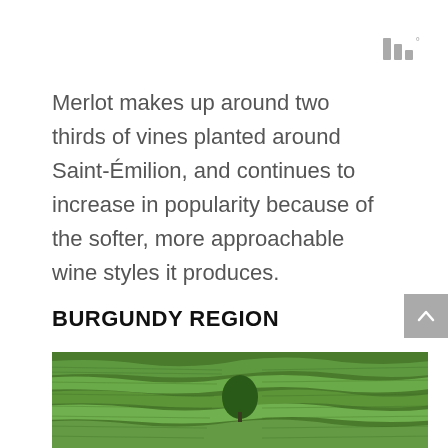[Figure (logo): Three vertical bars of decreasing height (like a signal/chart icon) with a degree symbol, in gray]
Merlot makes up around two thirds of vines planted around Saint-Émilion, and continues to increase in popularity because of the softer, more approachable wine styles it produces.
BURGUNDY REGION
[Figure (photo): Aerial view of green vineyard rows in the Burgundy region, showing terraced vine rows across rolling hills with a tree visible in the center]